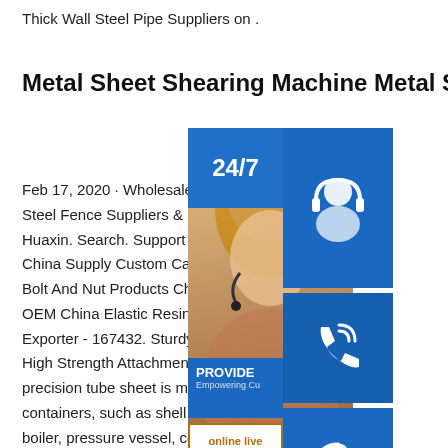Thick Wall Steel Pipe Suppliers on .
Metal Sheet Shearing Machine Metal Sheet Shearing
Feb 17, 2020 · Wholesale Cheap OEM Steel Fence Suppliers & Manufacturers Huaxin. Search. Support road.cc. Like China Supply Custom Carbon Steel M Bolt And Nut Products Cheap Price - OEM China Elastic Resin Hot Melt A Exporter - 167432. Sturdy clad tube sh High Strength Attachments The custo precision tube sheet is mainly used for chemical containers, such as shell and tube heat exchanger, boiler, pressure vessel, condenser, central air conditioning, evaporator, water desalination with the function of supporting the fixed shell and tube. .etc Production of tube sheet:OEM,ODM
[Figure (photo): Customer service representative with headset, overlaid with blue UI widgets showing 24/7 support, phone icon, Skype icon, online live chat button, and PROVIDE Empowering Cu text block.]